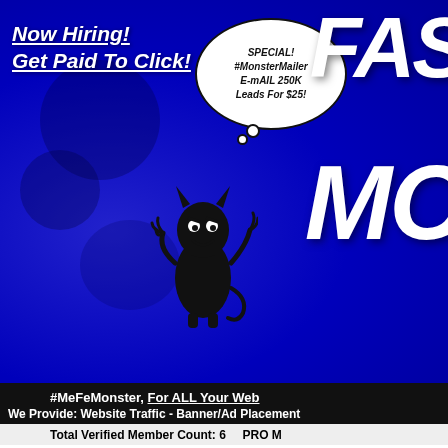[Figure (screenshot): Blue banner with monster character, thought bubble saying 'SPECIAL! #MonsterMailer E-mAIL 250K Leads For $25!', 'Now Hiring! Get Paid To Click!' text, and partial large stylized text 'FAS' and 'MO' on the right]
#MeFeMonster, For ALL Your Web
We Provide: Website Traffic - Banner/Ad Placement
Total Verified Member Count: 6    PRO M
Member Sign In
Userid:
Password:
Remember me
Lost Password?
ATTN: A
- GET A F
- FREE EM
- WH
- GET A
- GET A